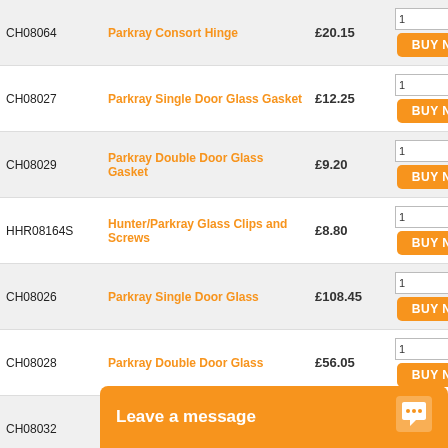| Code | Product | Price | Action |
| --- | --- | --- | --- |
| CH08064 | Parkray Consort Hinge | £20.15 | BUY NOW |
| CH08027 | Parkray Single Door Glass Gasket | £12.25 | BUY NOW |
| CH08029 | Parkray Double Door Glass Gasket | £9.20 | BUY NOW |
| HHR08164S | Hunter/Parkray Glass Clips and Screws | £8.80 | BUY NOW |
| CH08026 | Parkray Single Door Glass | £108.45 | BUY NOW |
| CH08028 | Parkray Double Door Glass | £56.05 | BUY NOW |
| CH08032 | Parkray Consort 6" Flue Gasket | £9.20 | BUY NOW |
| CH08003 | Hunter Door Slider | £20.75 | BUY NOW |
| CH06006 | Parkray Cons... (Double Do... |  | BUY NOW |
Leave a message